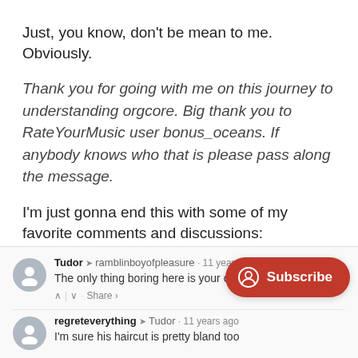Just, you know, don't be mean to me. Obviously.
Thank you for going with me on this journey to understanding orgcore. Big thank you to RateYourMusic user bonus_oceans. If anybody knows who that is please pass along the message.
I'm just gonna end this with some of my favorite comments and discussions:
[Figure (screenshot): Comment section screenshot. Tudor replied to ramblinboyofpleasure 11 years ago: 'The only thing boring here is your c[omment]' with Share action. Below: regreteverything replied to Tudor 11 years ago: 'I'm sure his haircut is pretty bland too']
[Figure (other): Red Subscribe button with user icon overlay in bottom right corner]